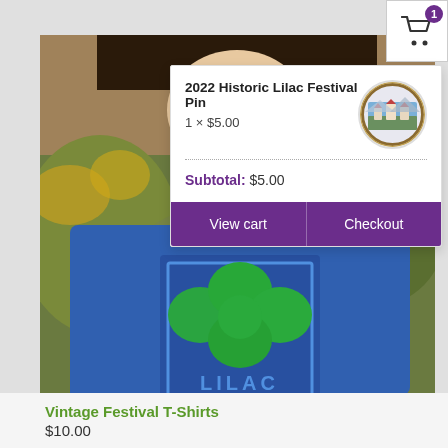[Figure (screenshot): Shopping cart icon with badge showing 1 item, top right corner]
[Figure (photo): Woman wearing blue Lilac Festival t-shirt with green shamrock/clover design, standing outdoors with foliage in background]
2022 Historic Lilac Festival Pin
1 × $5.00
Subtotal: $5.00
View cart
Checkout
Vintage Festival T-Shirts
$10.00